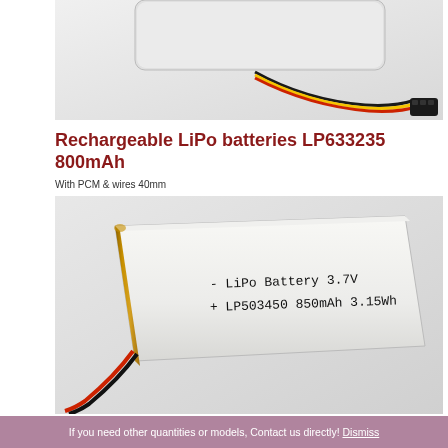[Figure (photo): Close-up photo of a LiPo battery with red, yellow, and black wires and a black JST connector, on a white background.]
Rechargeable LiPo batteries LP633235 800mAh
With PCM & wires 40mm
[Figure (photo): Photo of a rectangular LiPo battery labeled 'LiPo Battery 3.7V + LP503450 850mAh 3.15Wh' with gold-colored side and silver metallic body, with red and black wires, on a light gray background.]
If you need other quantities or models, Contact us directly! Dismiss